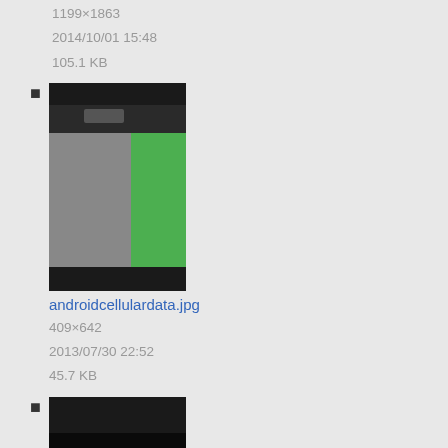1199×1863
2014/10/01 15:48
105.1 KB
[Figure (screenshot): Screenshot of a mobile app with gray and green panels]
androidcellulardata.jpg
409×642
2013/07/30 22:52
45.7 KB
[Figure (screenshot): Screenshot of a dark mobile app with green vertical bar]
androidcellulardata.png
1200×1920
2014/09/30 22:43
78.3 KB
[Figure (screenshot): Partial screenshot of a mobile app]